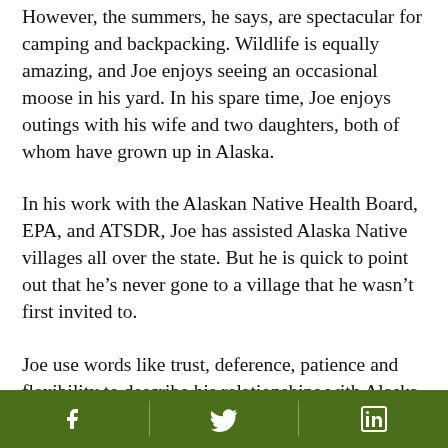However, the summers, he says, are spectacular for camping and backpacking. Wildlife is equally amazing, and Joe enjoys seeing an occasional moose in his yard. In his spare time, Joe enjoys outings with his wife and two daughters, both of whom have grown up in Alaska.
In his work with the Alaskan Native Health Board, EPA, and ATSDR, Joe has assisted Alaska Native villages all over the state. But he is quick to point out that he's never gone to a village that he wasn't first invited to.
Joe use words like trust, deference, patience and flexibility to describe his relationships with Alaska Natives.  We can all learn from his proactive approach in establishing effective communication and
Social media icons: Facebook, Twitter, LinkedIn